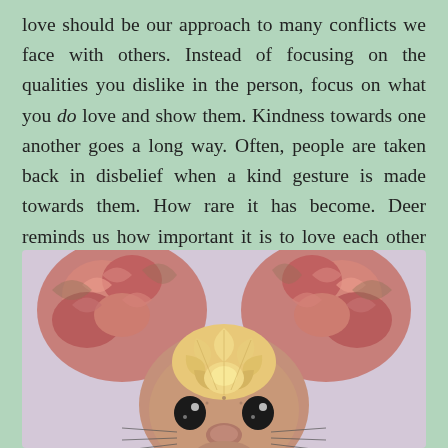love should be our approach to many conflicts we face with others. Instead of focusing on the qualities you dislike in the person, focus on what you do love and show them. Kindness towards one another goes a long way. Often, people are taken back in disbelief when a kind gesture is made towards them. How rare it has become. Deer reminds us how important it is to love each other as we are. You should never expect anyone to change for you.
[Figure (illustration): Decorative illustration of a deer face with ornate antlers filled with rose and shell patterns, rendered in colored pencil style on a light purple/grey background.]